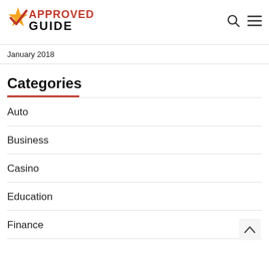[Figure (logo): Approved Guide logo with red checkmark star and bold text 'APPROVED GUIDE']
January 2018
Categories
Auto
Business
Casino
Education
Finance